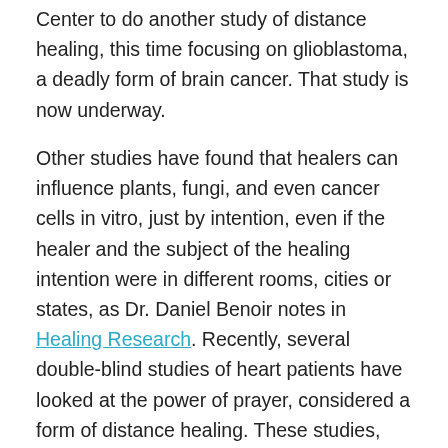Center to do another study of distance healing, this time focusing on glioblastoma, a deadly form of brain cancer. That study is now underway.
Other studies have found that healers can influence plants, fungi, and even cancer cells in vitro, just by intention, even if the healer and the subject of the healing intention were in different rooms, cities or states, as Dr. Daniel Benoir notes in Healing Research. Recently, several double-blind studies of heart patients have looked at the power of prayer, considered a form of distance healing. These studies, including one published in the conservative research journal, Annals of Internal Medicine, on October 25, 1999, found that intercessory prayers significantly improved medical outcomes in the critically ill, even when they had no idea they were being prayed for by people they had never met. “This result suggests that prayer may be an effective adjunct to standard medical